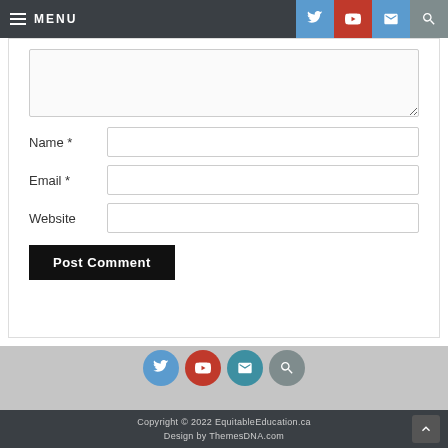MENU
[Figure (screenshot): Comment form with Name, Email, Website fields and Post Comment button]
[Figure (infographic): Social media icon row: Twitter, YouTube, Mail, Search]
Copyright © 2022 EquitableEducation.ca Design by ThemesDNA.com